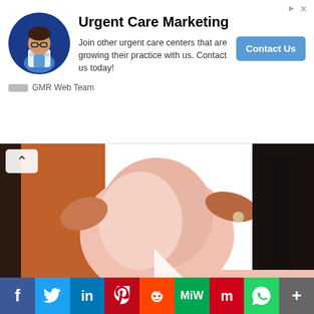[Figure (infographic): Advertisement banner for Urgent Care Marketing by GMR Web Team, featuring a circular avatar of a person in medical attire, headline text, body copy, and Contact Us button]
[Figure (photo): Close-up photo of Georgina Rodríguez in a light pink satin dress with hands on hips, at the Venice Film Festival]
Georgina Rodríguez
Georgina Rodríguez was the most talked-about celebrity that turned up for this year's Venice Film Festival. The social event is one of the first events she has attended as a special guest,
[Figure (infographic): Social media share buttons bar: Facebook, Twitter, LinkedIn, Pinterest, Reddit, MeWe, Mix, WhatsApp, More]